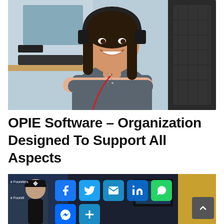[Figure (photo): Young woman with headphones around her neck, arms crossed, smiling at camera. She is seated at a desk with a computer in an office environment.]
OPIE Software – Organization Designed To Support All Aspects
[Figure (photo): Office scene with people, overlaid with social media share buttons: Facebook, Twitter, Email, LinkedIn, WhatsApp, Messenger, and a plus button. A scroll-to-top arrow button appears at bottom right.]